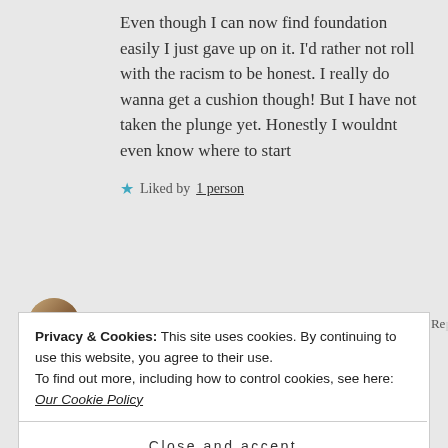Even though I can now find foundation easily I just gave up on it. I'd rather not roll with the racism to be honest. I really do wanna get a cushion though! But I have not taken the plunge yet. Honestly I wouldnt even know where to start
★ Liked by 1 person
ADOREBEE says: ↑ Reply
Privacy & Cookies: This site uses cookies. By continuing to use this website, you agree to their use.
To find out more, including how to control cookies, see here: Our Cookie Policy
Close and accept
have a decent range of colours in